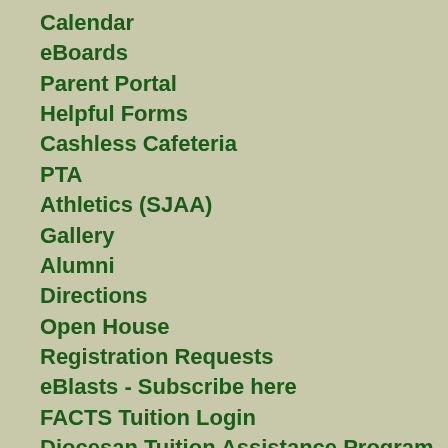Calendar
eBoards
Parent Portal
Helpful Forms
Cashless Cafeteria
PTA
Athletics (SJAA)
Gallery
Alumni
Directions
Open House
Registration Requests
eBlasts - Subscribe here
FACTS Tuition Login
Diocesan Tuition Assistance Program 2022-2023
Email Login
St. James Church
Faith at Home